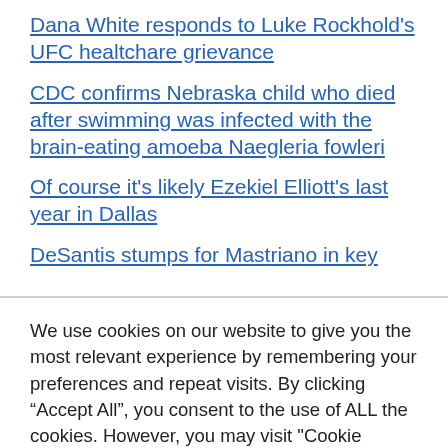Dana White responds to Luke Rockhold's UFC healtchare grievance
CDC confirms Nebraska child who died after swimming was infected with the brain-eating amoeba Naegleria fowleri
Of course it's likely Ezekiel Elliott's last year in Dallas
DeSantis stumps for Mastriano in key
We use cookies on our website to give you the most relevant experience by remembering your preferences and repeat visits. By clicking “Accept All”, you consent to the use of ALL the cookies. However, you may visit "Cookie Settings" to provide a controlled consent.